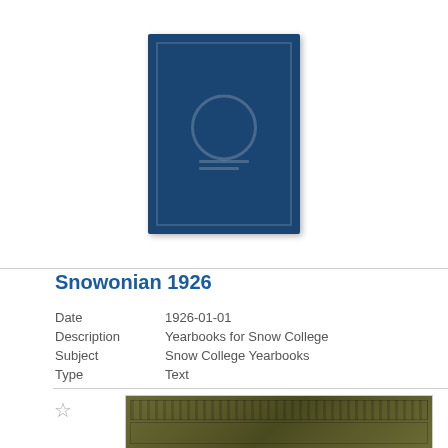[Figure (photo): Blue hardcover yearbook book cover, dark navy blue with embossed design and circular emblem]
Snowonian 1926
| Date | 1926-01-01 |
| Description | Yearbooks for Snow College |
| Subject | Snow College Yearbooks |
| Type | Text |
[Figure (photo): Olive/army green hardcover yearbook, partially visible at bottom of page, with decorative embossed border pattern]